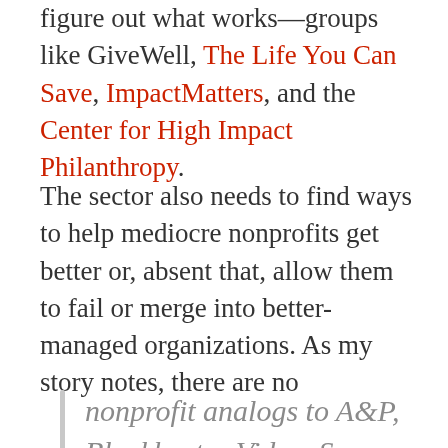figure out what works—groups like GiveWell, The Life You Can Save, ImpactMatters, and the Center for High Impact Philanthropy.
The sector also needs to find ways to help mediocre nonprofits get better or, absent that, allow them to fail or merge into better-managed organizations. As my story notes, there are no
nonprofit analogs to A&P, Blockbuster Video, Sears, or Bear Stearns — big outfits that failed when they lost